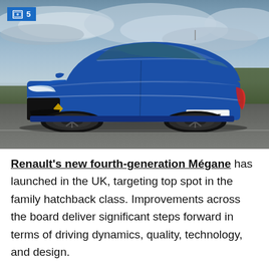[Figure (photo): A blue Renault Mégane hatchback (license plate REN 205) photographed from the front-left at a low angle, driving on a road with cloudy sky and greenery in the background. A blue badge showing a camera icon and the number 5 is overlaid in the top-left corner.]
Renault's new fourth-generation Mégane has launched in the UK, targeting top spot in the family hatchback class. Improvements across the board deliver significant steps forward in terms of driving dynamics, quality, technology, and design.